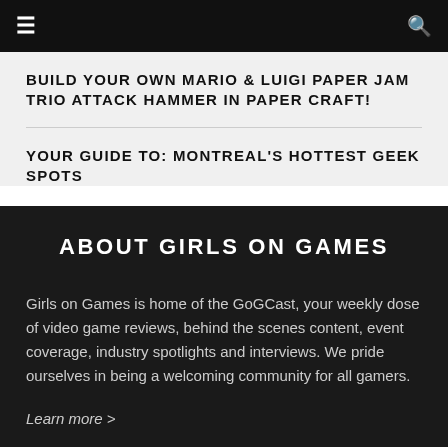☰  🔍
BUILD YOUR OWN MARIO & LUIGI PAPER JAM TRIO ATTACK HAMMER IN PAPER CRAFT!
YOUR GUIDE TO: MONTREAL'S HOTTEST GEEK SPOTS
ABOUT GIRLS ON GAMES
Girls on Games is home of the GoGCast, your weekly dose of video game reviews, behind the scenes content, event coverage, industry spotlights and interviews. We pride ourselves in being a welcoming community for all gamers.
Learn more >